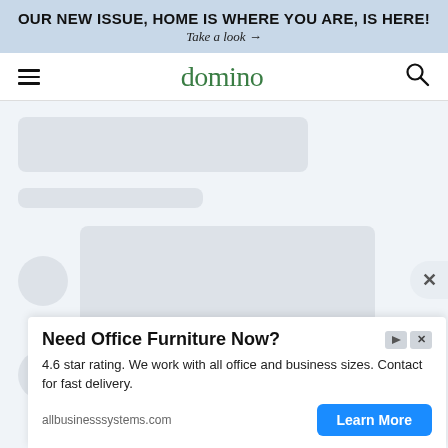OUR NEW ISSUE, HOME IS WHERE YOU ARE, IS HERE! Take a look →
domino
[Figure (screenshot): Loading skeleton placeholder showing gray rounded rectangles and circles indicating content is loading on the domino website]
[Figure (screenshot): Advertisement banner: Need Office Furniture Now? 4.6 star rating. We work with all office and business sizes. Contact for fast delivery. allbusinesssystems.com | Learn More button]